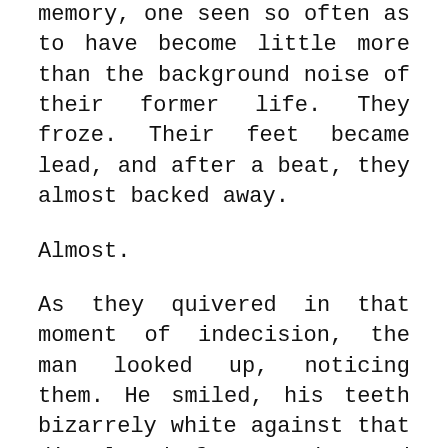memory, one seen so often as to have become little more than the background noise of their former life. They froze. Their feet became lead, and after a beat, they almost backed away.

Almost.

As they quivered in that moment of indecision, the man looked up, noticing them. He smiled, his teeth bizarrely white against that discolored face, and waved them over with fingers too small for the hand which bore them.

The Time Traveler's Assistant stood before the makeshift desk, trying to see this man as he should before entertaining him of